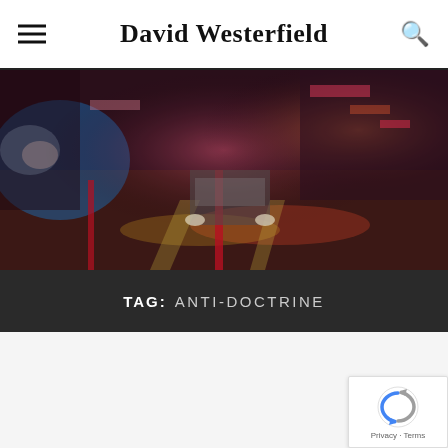David Westerfield
[Figure (photo): Blurry night street scene with colorful city lights, traffic, and pedestrians in an urban environment]
TAG: ANTI-DOCTRINE
[Figure (logo): reCAPTCHA badge with Google reCAPTCHA logo and Privacy - Terms text]